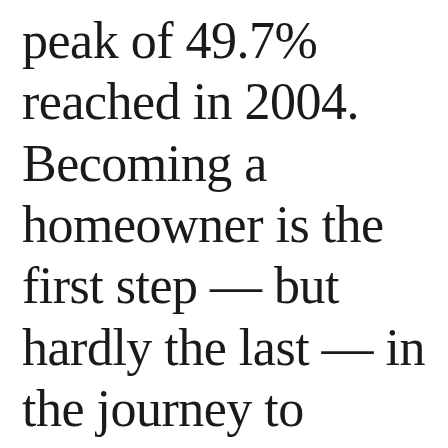peak of 49.7% reached in 2004. Becoming a homeowner is the first step — but hardly the last — in the journey to housing parity. Black-owned home values continue to lag